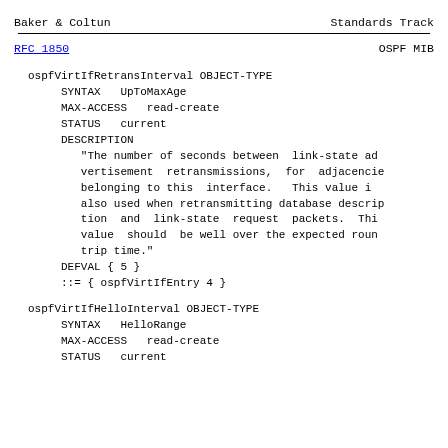Baker & Coltun                    Standards Track
RFC 1850                              OSPF MIB
ospfVirtIfRetransInterval OBJECT-TYPE
     SYNTAX   UpToMaxAge
     MAX-ACCESS   read-create
     STATUS   current
     DESCRIPTION
        "The number of seconds between  link-state ad-
        vertisement  retransmissions,  for  adjacencies
        belonging to this  interface.   This value is
        also used when retransmitting database descrip-
        tion  and  link-state  request  packets.  This
        value  should  be well over the expected round
        trip time."
     DEFVAL { 5 }
     ::= { ospfVirtIfEntry 4 }
ospfVirtIfHelloInterval OBJECT-TYPE
     SYNTAX   HelloRange
     MAX-ACCESS   read-create
     STATUS   current